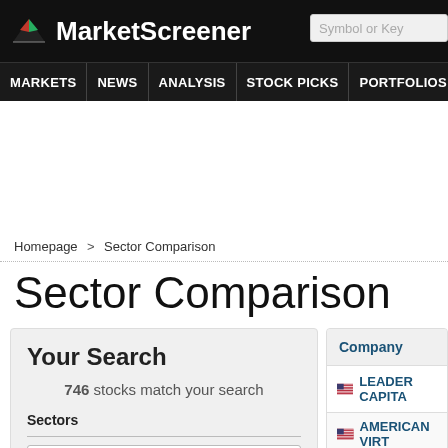MarketScreener — Symbol or Key
MARKETS NEWS ANALYSIS STOCK PICKS PORTFOLIOS WATCHLI
Homepage > Sector Comparison
Sector Comparison
Your Search — 746 stocks match your search — Sectors — 7 selected
| Company |
| --- |
| LEADER CAPITA |
| AMERICAN VIRT |
| MENTAL HEALTH |